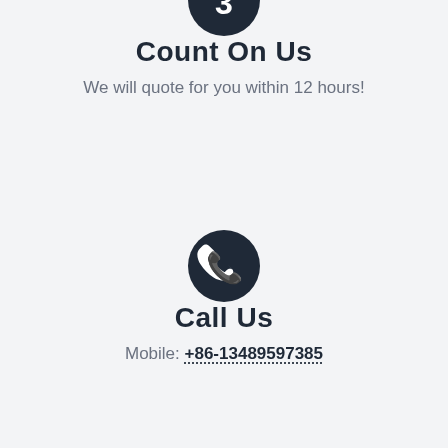[Figure (logo): Partially visible dark circular icon at the top of the page with a white symbol inside]
Count On Us
We will quote for you within 12 hours!
[Figure (logo): Dark circular phone/call icon with white telephone symbol]
Call Us
Mobile: +86-13489597385